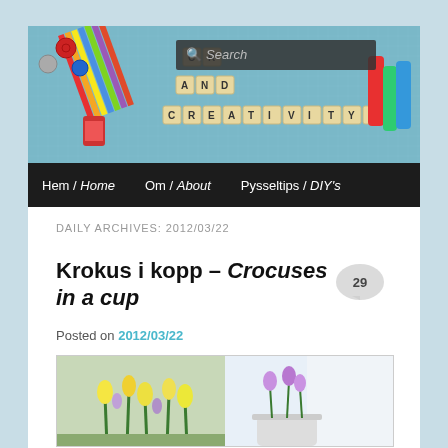[Figure (photo): Blog header photo showing craft supplies: colored pencils, buttons, thread spools, paint tubes, and Scrabble tiles spelling 'CRAFT AND CREATIVITY' on a blue grid background. A search box overlay reads 'Search'.]
Hem / Home   Om / About   Pysseltips / DIY's
DAILY ARCHIVES: 2012/03/22
Krokus i kopp – Crocuses in a cup
Posted on 2012/03/22
[Figure (photo): Photo of yellow and purple crocus flowers in a cup, split into two panels side by side.]